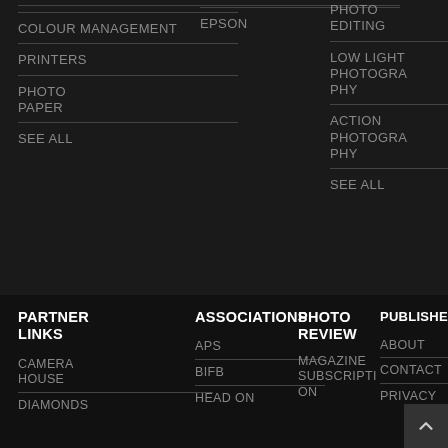COLOUR MANAGEMENT
PRINTERS
PHOTO PAPER
SEE ALL
EPSON
PHOTO EDITING
LOW LIGHT PHOTOGRAPHY
ACTION PHOTOGRAPHY
SEE ALL
PARTNER LINKS
ASSOCIATIONS
PHOTO REVIEW
PUBLISHER
CAMERA HOUSE
DIAMONDS
APS
BIFB
HEAD ON
MAGAZINE SUBSCRIPTION
ABOUT
CONTACT
PRIVACY